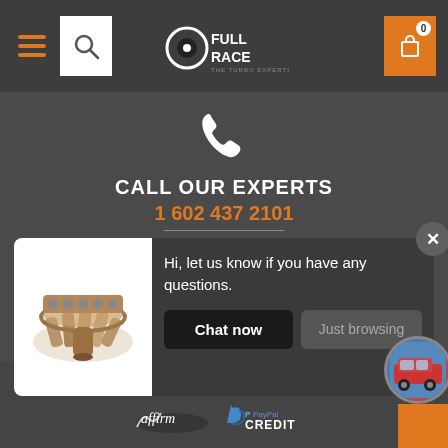[Figure (screenshot): Full Race website header with hamburger menu, search box, Full Race logo (The Turbo Experts), and shopping cart icon with 0 badge]
[Figure (infographic): Phone icon (white handset) centered on dark gray background]
CALL OUR EXPERTS
1 602 437 2101
[Figure (screenshot): Chat popup with turbo/exhaust manifold product image on left, text 'Hi, let us know if you have any questions.' and two buttons: 'Chat now' (dark) and 'Just browsing' (gray). Close X button top right.]
Hi, let us know if you have any questions.
Chat now
Just browsing
Write a message...
PAY LATER
[Figure (logo): Affirm logo and PayPal Credit logo]
[Figure (photo): Small circular car photo thumbnail and orange tab in bottom right corner]